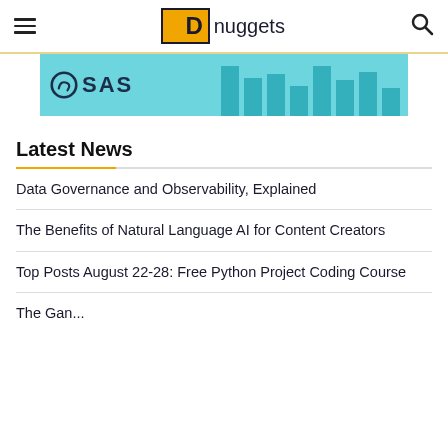KD nuggets
[Figure (logo): SAS advertisement banner with teal/cyan background, SAS logo with swirl icon and bar chart elements]
Latest News
Data Governance and Observability, Explained
The Benefits of Natural Language AI for Content Creators
Top Posts August 22-28: Free Python Project Coding Course
The Gan...